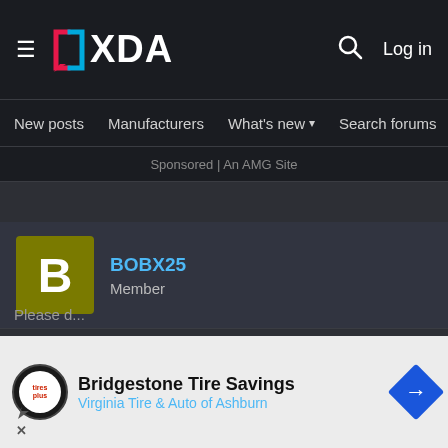XDA Forums header with hamburger menu, XDA logo, search icon, Log in
New posts | Manufacturers | What's new ▾ | Search forums | Membe >
Sponsored | An AMG Site
[Figure (other): User avatar: olive/dark-yellow square with white bold letter B]
BOBX25
Member
Jul 4, 2016
#309
Hi Good Sir..
I am currently trying to follow the instructions
Root>etc>hosts
Tried to m... d only file...
Please d...
[Figure (other): Bridgestone / Virginia Tire & Auto of Ashburn advertisement banner]